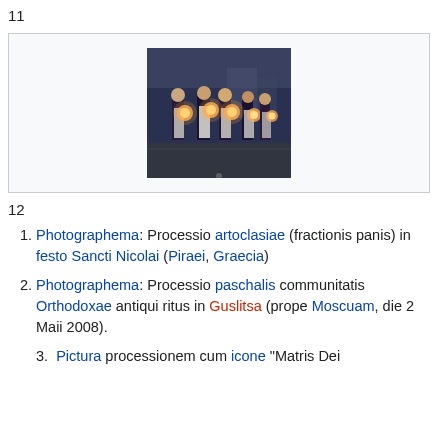11
[Figure (photo): Procession of clergy/monks carrying glowing lanterns/orbs in a street at dusk]
12
Photographema: Processio artoclasiae (fractionis panis) in festo Sancti Nicolai (Piraei, Graecia)
Photographema: Processio paschalis communitatis Orthodoxae antiqui ritus in Guslitsa (prope Moscuam, die 2 Maii 2008).
3. Pictura processionem cum icone "Matris Dei